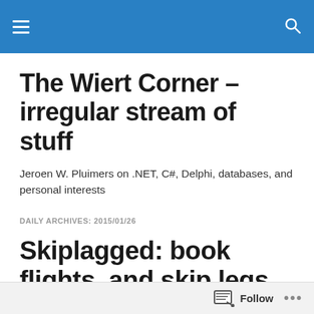The Wiert Corner – irregular stream of stuff (navigation bar)
The Wiert Corner – irregular stream of stuff
Jeroen W. Pluimers on .NET, C#, Delphi, databases, and personal interests
DAILY ARCHIVES: 2015/01/26
Skiplagged: book flights, and skip legs to make them cheaper – via: Jan Wildeboer,
Follow ...